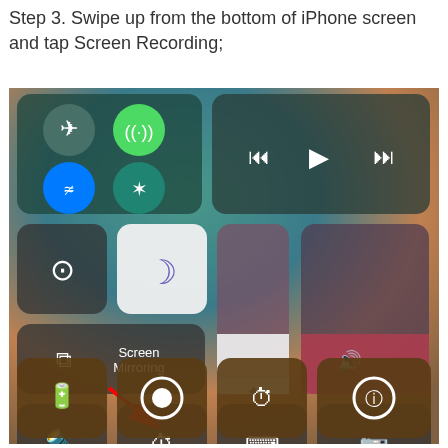Step 3. Swipe up from the bottom of iPhone screen and tap Screen Recording;
[Figure (screenshot): iPhone Control Center screenshot showing connectivity buttons (Airplane Mode, WiFi active green, WiFi, Bluetooth), media controls, rotation lock, Do Not Disturb (moon), Screen Mirroring, brightness slider, volume slider, flashlight, timer, calculator, camera, and bottom row with battery/screen recording button highlighted by a red arrow, plus timer and accessibility buttons.]